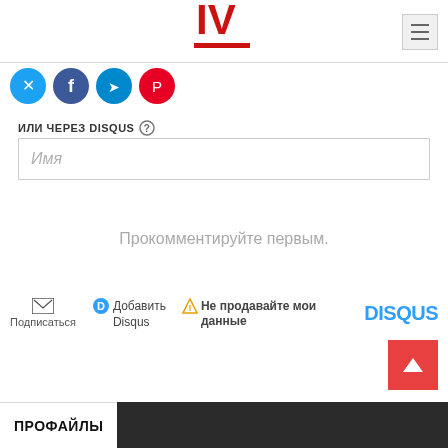[Figure (logo): IV logo in red with bold letters]
[Figure (screenshot): Social media share icons: Twitter/X (blue), Facebook (blue), Telegram (blue), Pinterest/Youtube (red)]
ИЛИ ЧЕРЕЗ DISQUS ?
Имя
Прокомментируйте первым.
Подписаться
Добавить Disqus
Не продавайте мои данные
DISQUS
ПРОФАЙЛЫ